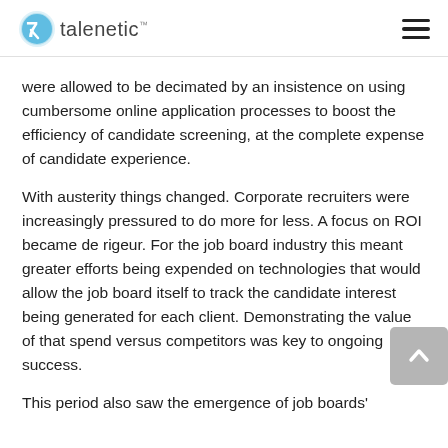talenetic
were allowed to be decimated by an insistence on using cumbersome online application processes to boost the efficiency of candidate screening, at the complete expense of candidate experience.
With austerity things changed. Corporate recruiters were increasingly pressured to do more for less. A focus on ROI became de rigeur. For the job board industry this meant greater efforts being expended on technologies that would allow the job board itself to track the candidate interest being generated for each client. Demonstrating the value of that spend versus competitors was key to ongoing success.
This period also saw the emergence of job boards'